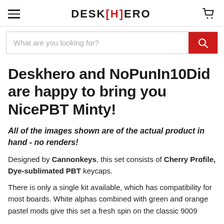DESK[H]ERO
[Figure (other): Search bar with red search button]
Deskhero and NoPunIn10Did are happy to bring you NicePBT Minty!
All of the images shown are of the actual product in hand - no renders!
Designed by Cannonkeys, this set consists of Cherry Profile, Dye-sublimated PBT keycaps.
There is only a single kit available, which has compatibility for most boards. White alphas combined with green and orange pastel mods give this set a fresh spin on the classic 9009